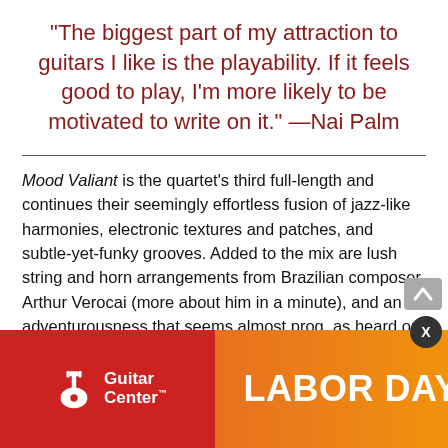"The biggest part of my attraction to guitars I like is the playability. If it feels good to play, I'm more likely to be motivated to write on it." —Nai Palm
Mood Valiant is the quartet's third full-length and continues their seemingly effortless fusion of jazz-like harmonies, electronic textures and patches, and subtle-yet-funky grooves. Added to the mix are lush string and horn arrangements from Brazilian composer Arthur Verocai (more about him in a minute), and an adventurousness that seems almost prog, as heard on songs [obscured by ad] Water, [obscured] r," and th[obscured] ed "Chivalry Is Not Dead.
[Figure (other): Guitar Center Labor Day Sale advertisement banner overlapping the lower portion of the page. Left red section shows the Guitar Center logo with guitar icon. Right orange-to-gold gradient section shows 'LABOR DAY SALE' in large white bold text.]